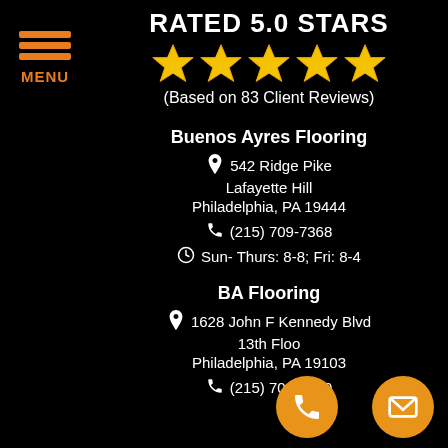[Figure (logo): Hamburger menu icon with three orange lines and MENU label in orange on black background, top-left corner]
RATED 5.0 STARS
[Figure (infographic): Five gold star rating icons in a row]
(Based on 83 Client Reviews)
Buenos Ayres Flooring
542 Ridge Pike
Lafayette Hill
Philadelphia, PA 19444
(215) 709-7368
Sun- Thurs: 8-8; Fri: 8-4
BA Flooring
1628 John F Kennedy Blvd
13th Floo
Philadelphia, PA 19103
(215) 709-8879
[Figure (infographic): Orange circle button with white phone icon, bottom right area]
[Figure (infographic): Orange circle button with white envelope/mail icon, bottom right corner]